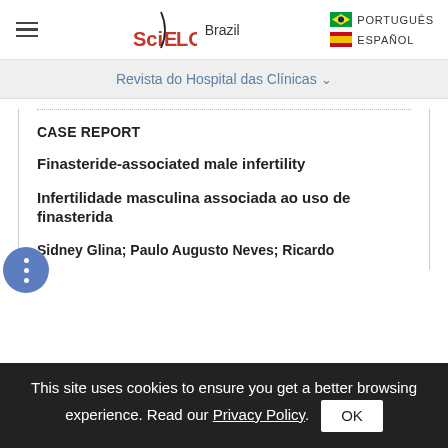SciELO Brazil | PORTUGUÊS | ESPAÑOL
Revista do Hospital das Clínicas
CASE REPORT
Finasteride-associated male infertility
Infertilidade masculina associada ao uso de finasterida
Sidney Glina; Paulo Augusto Neves; Ricardo
This site uses cookies to ensure you get a better browsing experience. Read our Privacy Policy.